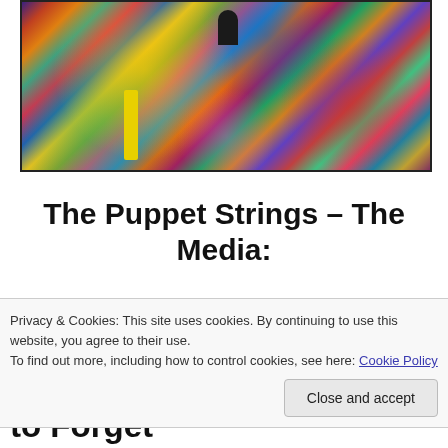[Figure (illustration): A colorful, busy mixed-media artwork with many overlapping objects, colors (red, blue, yellow, green, orange, purple), and what appears to be a dark figure at the top center. A yellow cylindrical shape is prominent in the lower-left portion.]
The Puppet Strings – The Media:
Dandified Little Buns, The
Privacy & Cookies: This site uses cookies. By continuing to use this website, you agree to their use.
To find out more, including how to control cookies, see here: Cookie Policy
Close and accept
Succeeded in Getting Us to Forget